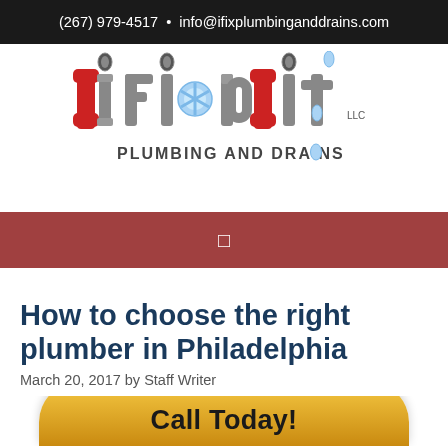(267) 979-4517  •  info@ifixplumbinganddrains.com
[Figure (logo): iFixdit Plumbing and Drains LLC logo with pipe wrench letters and water droplets]
[Figure (other): Dark red/maroon navigation bar with a small white square/menu icon]
How to choose the right plumber in Philadelphia
March 20, 2017 by Staff Writer
[Figure (other): Gold/yellow rounded Call Today! button emerging from bottom of page]